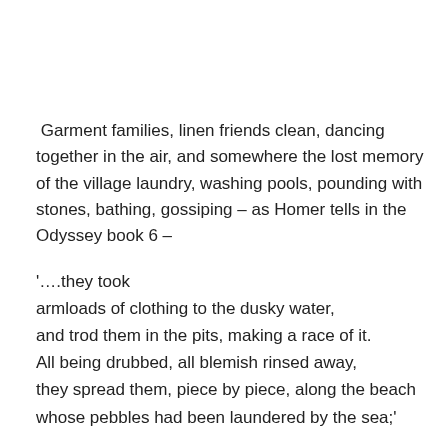Garment families, linen friends clean, dancing together in the air, and somewhere the lost memory of the village laundry, washing pools, pounding with stones, bathing, gossiping – as Homer tells in the Odyssey book 6 –
'….they took
armloads of clothing to the dusky water,
and trod them in the pits, making a race of it.
All being drubbed, all blemish rinsed away,
they spread them, piece by piece, along the beach
whose pebbles had been laundered by the sea;'
This translation by Robert Fitzgerald, appears in the little